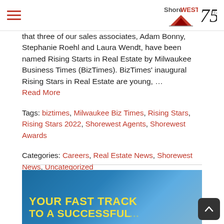Shorewest 75 Years
that three of our sales associates, Adam Bonny, Stephanie Roehl and Laura Wendt, have been named Rising Starts in Real Estate by Milwaukee Business Times (BizTimes). BizTimes' inaugural Rising Stars in Real Estate are young, ... Read More
Tags: biztimes, Milwaukee Biz Times, Rising Stars, Rising Stars 2022, Shorewest Agents, Shorewest Awards
Categories: Careers, Real Estate News, Shorewest News, Uncategorized
[Figure (other): Promotional banner with text 'YOUR FAST TRACK TO A SUCCESSFU...' on a blue sky and trees background]